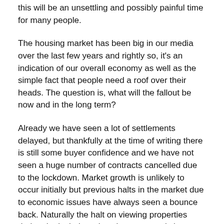this will be an unsettling and possibly painful time for many people.
The housing market has been big in our media over the last few years and rightly so, it's an indication of our overall economy as well as the simple fact that people need a roof over their heads. The question is, what will the fallout be now and in the long term?
Already we have seen a lot of settlements delayed, but thankfully at the time of writing there is still some buyer confidence and we have not seen a huge number of contracts cancelled due to the lockdown. Market growth is unlikely to occur initially but previous halts in the market due to economic issues have always seen a bounce back. Naturally the halt on viewing properties during the lock down is going to severely impact sales numbers over the lock down period and immediately afterwards.